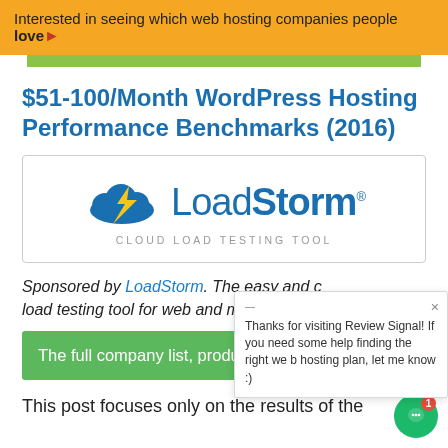Interested in seeing which web hosting companies people love
$51-100/Month WordPress Hosting Performance Benchmarks (2016)
[Figure (logo): LoadStorm logo with cloud and lightning bolt icon, subtitle: CLOUD LOAD TESTING TOOL]
Sponsored by LoadStorm. The easy and c... load testing tool for web and mobile app...
The full company list, product list, methodology, b...
This post focuses only on the results of the